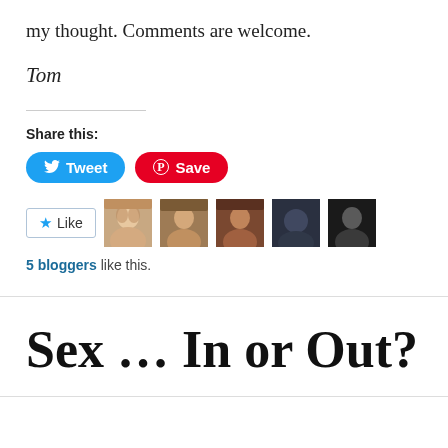my thought. Comments are welcome.
Tom
Share this:
[Figure (screenshot): Tweet and Save share buttons; Tweet button is blue rounded, Save button is red rounded with Pinterest icon]
[Figure (screenshot): Like button with star icon and 5 blogger avatar thumbnails]
5 bloggers like this.
Sex … In or Out?